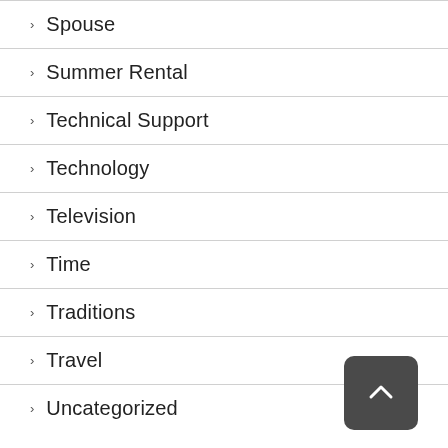> Spouse
> Summer Rental
> Technical Support
> Technology
> Television
> Time
> Traditions
> Travel
> Uncategorized